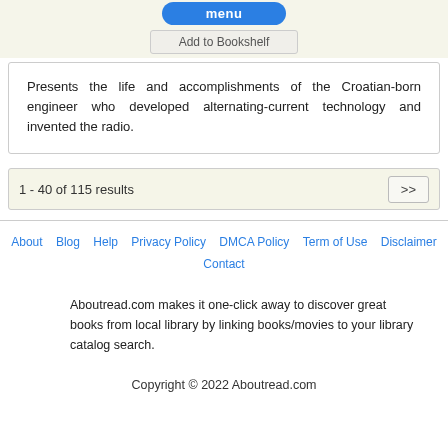menu
Add to Bookshelf
Presents the life and accomplishments of the Croatian-born engineer who developed alternating-current technology and invented the radio.
1 - 40 of 115 results
About  Blog  Help  Privacy Policy  DMCA Policy  Term of Use  Disclaimer  Contact
Aboutread.com makes it one-click away to discover great books from local library by linking books/movies to your library catalog search.
Copyright © 2022 Aboutread.com